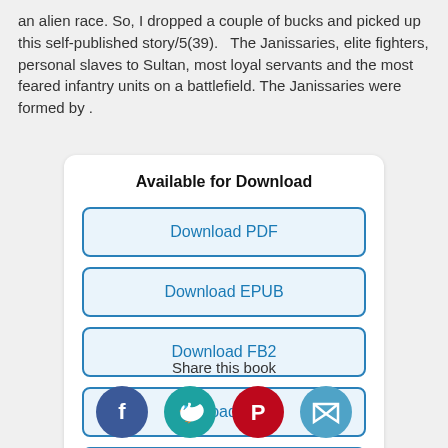an alien race. So, I dropped a couple of bucks and picked up this self-published story/5(39).   The Janissaries, elite fighters, personal slaves to Sultan, most loyal servants and the most feared infantry units on a battlefield. The Janissaries were formed by .
Available for Download
Download PDF
Download EPUB
Download FB2
Download MOBI
Download TXT
Share this book
[Figure (infographic): Four social media share icons: Facebook (blue circle), Twitter (teal circle), Pinterest (red circle), share/email (light blue circle)]